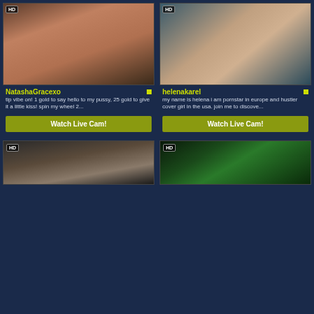[Figure (photo): Webcam thumbnail of NatashaGracexo with HD badge]
[Figure (photo): Webcam thumbnail of helenakarel with HD badge]
NatashaGracexo
helenakarel
tip vibe on! 1 gold to say hello to my pussy, 25 gold to give it a little kiss! spin my wheel 2...
my name is helena i am pornstar in europe and hustler cover girl in the usa. join me to discove...
Watch Live Cam!
Watch Live Cam!
[Figure (photo): Webcam thumbnail bottom left with HD badge]
[Figure (photo): Webcam thumbnail bottom right with HD badge, green light]